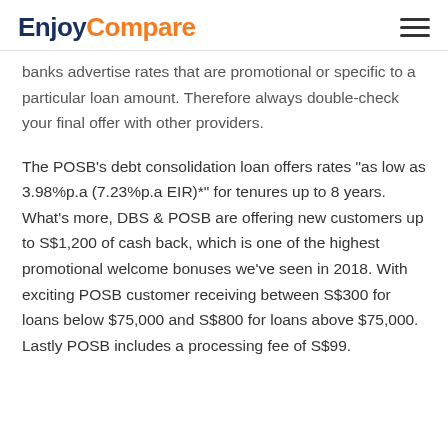EnjoyCompare
banks advertise rates that are promotional or specific to a particular loan amount. Therefore always double-check your final offer with other providers.
The POSB’s debt consolidation loan offers rates “as low as 3.98%p.a (7.23%p.a EIR)*” for tenures up to 8 years. What’s more, DBS & POSB are offering new customers up to S$1,200 of cash back, which is one of the highest promotional welcome bonuses we’ve seen in 2018. With exciting POSB customer receiving between S$300 for loans below $75,000 and S$800 for loans above $75,000. Lastly POSB includes a processing fee of S$99.